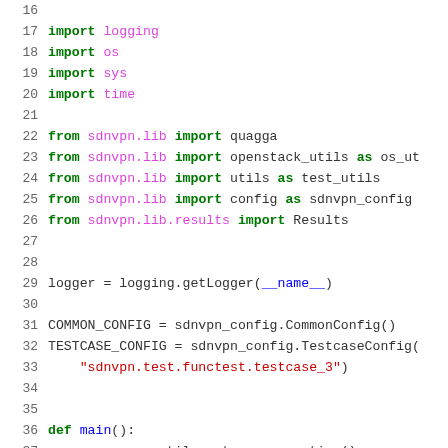[Figure (screenshot): Python source code snippet showing lines 16-45 with import statements, module-level configuration variables, and beginning of main() function definition. Syntax highlighted in green for keywords/modules, magenta for module names, red for strings, blue for built-ins and numbers.]